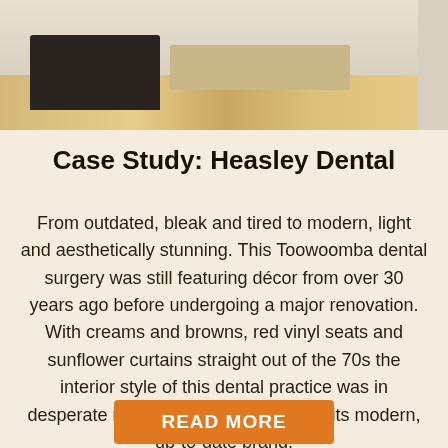[Figure (photo): Interior photo of a modern dental surgery waiting room with light wood flooring, dark seating furniture, and light walls]
Case Study: Heasley Dental
From outdated, bleak and tired to modern, light and aesthetically stunning. This Toowoomba dental surgery was still featuring décor from over 30 years ago before undergoing a major renovation. With creams and browns, red vinyl seats and sunflower curtains straight out of the 70s the interior style of this dental practice was in desperate need of a revamp to reflect its modern, up-to-date brand.
READ MORE